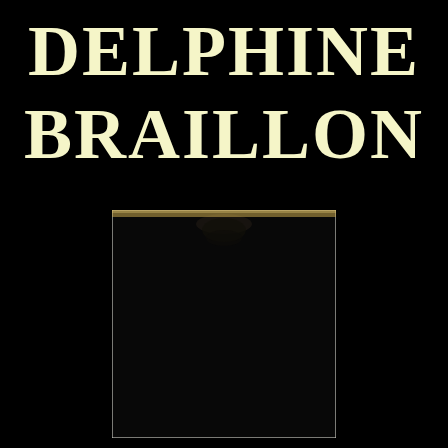DELPHINE BRAILLON
[Figure (photo): A dark, mostly black photograph showing a faint silhouetted figure at the top, nearly indistinguishable from the black background. The image is framed with a thin white/light border. A faint golden/tan strip is visible at the very top edge of the image.]